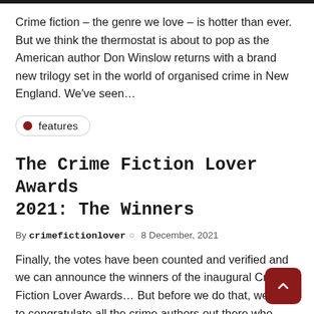Crime fiction – the genre we love – is hotter than ever. But we think the thermostat is about to pop as the American author Don Winslow returns with a brand new trilogy set in the world of organised crime in New England. We've seen…
features
The Crime Fiction Lover Awards 2021: The Winners
By crimefictionlover ○ 8 December, 2021
Finally, the votes have been counted and verified and we can announce the winners of the inaugural Crime Fiction Lover Awards… But before we do that, we want to congratulate all the crime authors out there who have released stories in the last year, those…